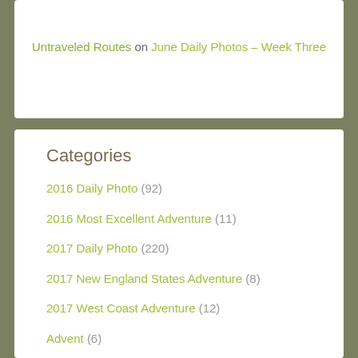Untraveled Routes on June Daily Photos – Week Three
Categories
2016 Daily Photo (92)
2016 Most Excellent Adventure (11)
2017 Daily Photo (220)
2017 New England States Adventure (8)
2017 West Coast Adventure (12)
Advent (6)
Adventures (254)
Albion (301)